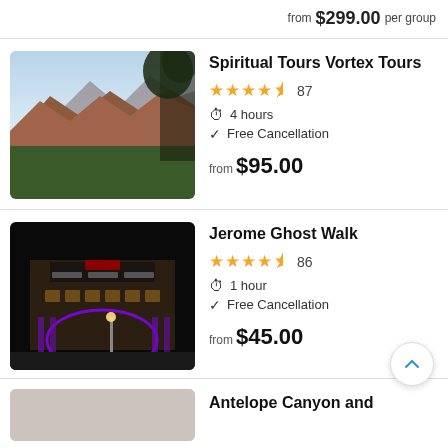from $299.00 per group
Spiritual Tours Vortex Tours
★★★★½ 87 · 4 hours · Free Cancellation · from $95.00
[Figure (photo): Scenic red rock landscape of Sedona with trees in foreground]
Jerome Ghost Walk
★★★★½ 86 · 1 hour · Free Cancellation · from $45.00
[Figure (photo): Night photo of Jerome Grand Hotel illuminated with purple lights]
Antelope Canyon and